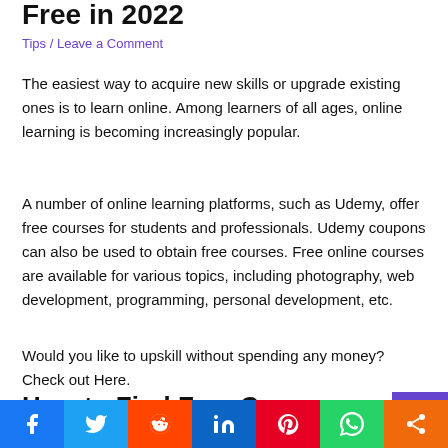Free in 2022
Tips / Leave a Comment
The easiest way to acquire new skills or upgrade existing ones is to learn online. Among learners of all ages, online learning is becoming increasingly popular.
A number of online learning platforms, such as Udemy, offer free courses for students and professionals. Udemy coupons can also be used to obtain free courses. Free online courses are available for various topics, including photography, web development, programming, personal development, etc.
Would you like to upskill without spending any money? Check out Here.
How to Find Free Courses o…
[Figure (infographic): Social sharing bar with icons for Facebook, Twitter, Reddit, LinkedIn, Pinterest, WhatsApp, and a share/more button]